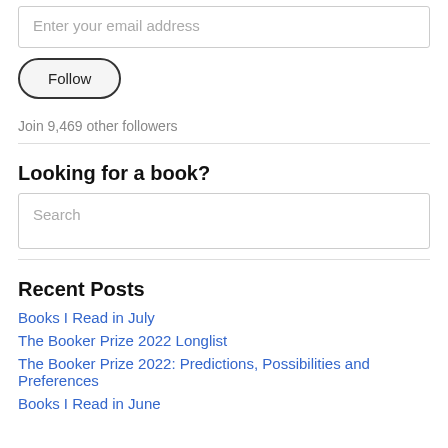Enter your email address
Follow
Join 9,469 other followers
Looking for a book?
Search
Recent Posts
Books I Read in July
The Booker Prize 2022 Longlist
The Booker Prize 2022: Predictions, Possibilities and Preferences
Books I Read in June